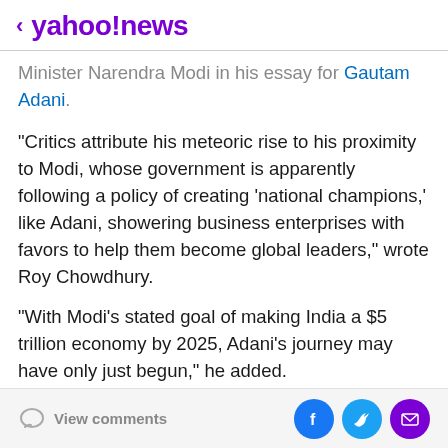< yahoo!news
Minister Narendra Modi in his essay for Gautam Adani.
“Critics attribute his meteoric rise to his proximity to Modi, whose government is apparently following a policy of creating ‘national champions,’ like Adani, showering business enterprises with favors to help them become global leaders,” wrote Roy Chowdhury.
“With Modi’s stated goal of making India a $5 trillion economy by 2025, Adani’s journey may have only just begun,” he added.
Adani is the chairman of Adani Group, which has seven publicly traded companies involved in everything from
View comments